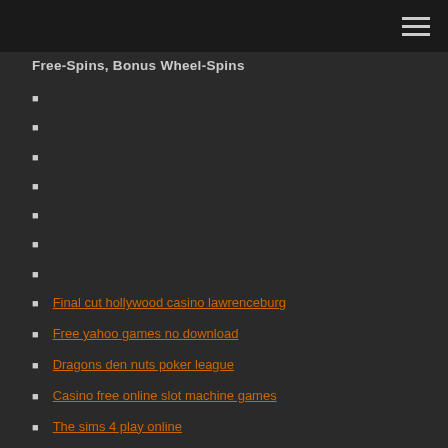Free-Spins, Bonus Wheel-Spins
Final cut hollywood casino lawrenceburg
Free yahoo games no download
Dragons den nuts poker league
Casino free online slot machine games
The sims 4 play online
Come si vince alle slot